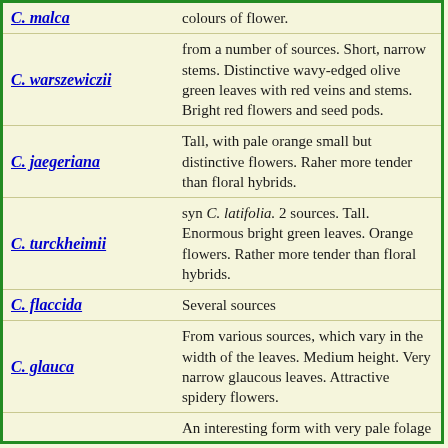| Species | Description |
| --- | --- |
| C. malea | colours of flower. |
| C. warszewiczii | from a number of sources. Short, narrow stems. Distinctive wavy-edged olive green leaves with red veins and stems. Bright red flowers and seed pods. |
| C. jaegeriana | Tall, with pale orange small but distinctive flowers. Raher more tender than floral hybrids. |
| C. turckheimii | syn C. latifolia. 2 sources. Tall. Enormous bright green leaves. Orange flowers. Rather more tender than floral hybrids. |
| C. flaccida | Several sources |
| C. glauca | From various sources, which vary in the width of the leaves. Medium height. Very narrow glaucous leaves. Attractive spidery flowers. |
| C. glauca(2) | An interesting form with very pale folage and compact flowers.
Our seed came from the Coroni Swamp in Trinidad. |
| C. jacobiniflora | 2 sources. medium height. Green foliage. orange fLowers which REMAIN CLOSED. |